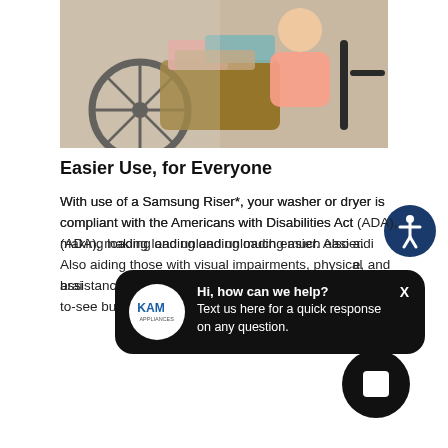[Figure (photo): Person in a wheelchair holding a laundry basket with colorful towels, wheelchair wheels visible]
Easier Use, for Everyone
With use of a Samsung Riser*, your washer or dryer is compliant with the Americans with Disabilities Act (ADA), making loading and unloading much easier. Also aiding those with visual impairments, physical assistance, and brain health, the dial has high-contrast and braille markings, and there are easy-to-see buttons.
[Figure (other): KAM Appliances chat popup with logo saying: Hi, how can we help? Text us here for a quick response on any question.]
[Figure (other): Black circular stop/close button]